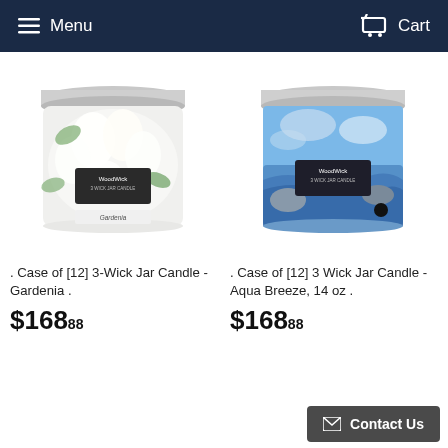Menu  Cart
[Figure (photo): WoodWick 3-Wick Jar Candle - Gardenia, white floral design candle with silver lid]
. Case of [12] 3-Wick Jar Candle - Gardenia .
$168.88
[Figure (photo): WoodWick 3 Wick Jar Candle - Aqua Breeze, 14 oz, blue ocean design candle with silver lid]
. Case of [12] 3 Wick Jar Candle - Aqua Breeze, 14 oz .
$168.88
Contact Us